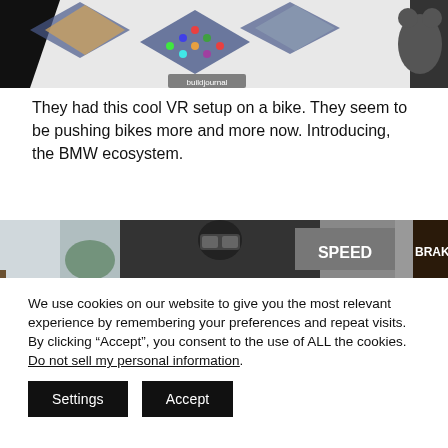[Figure (photo): Top image showing a display/installation with colorful candies or beads arranged in diamond-shaped frames on a white surface, with a watermark reading 'buildjournal']
They had this cool VR setup on a bike. They seem to be pushing bikes more and more now. Introducing, the BMW ecosystem.
[Figure (photo): Bottom image showing a VR bike setup with a person wearing a VR headset, with banners reading 'SPEED' and 'BRAKING']
We use cookies on our website to give you the most relevant experience by remembering your preferences and repeat visits. By clicking “Accept”, you consent to the use of ALL the cookies. Do not sell my personal information.